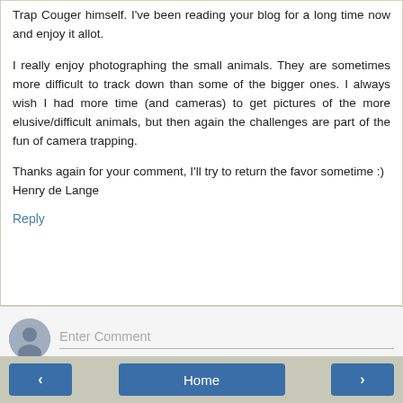Trap Couger himself. I've been reading your blog for a long time now and enjoy it allot.
I really enjoy photographing the small animals. They are sometimes more difficult to track down than some of the bigger ones. I always wish I had more time (and cameras) to get pictures of the more elusive/difficult animals, but then again the challenges are part of the fun of camera trapping.
Thanks again for your comment, I'll try to return the favor sometime :)
Henry de Lange
Reply
[Figure (other): Comment input area with avatar icon and 'Enter Comment' placeholder text field]
< | Home | >